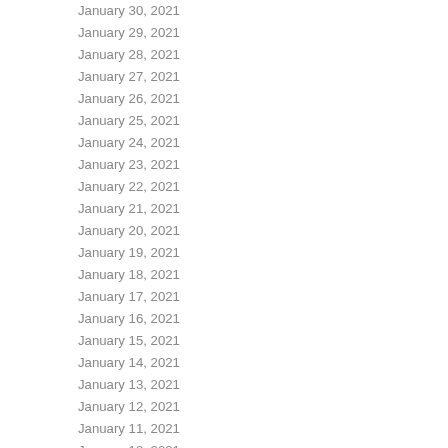| Date | Value |
| --- | --- |
| January 30, 2021 | 23 |
| January 29, 2021 | 28 |
| January 28, 2021 | 31 |
| January 27, 2021 | 27 |
| January 26, 2021 | 22 |
| January 25, 2021 | 33 |
| January 24, 2021 | 18 |
| January 23, 2021 | 19 |
| January 22, 2021 | 24 |
| January 21, 2021 | 19 |
| January 20, 2021 | 24 |
| January 19, 2021 | 15 |
| January 18, 2021 | 33 |
| January 17, 2021 | 17 |
| January 16, 2021 | 28 |
| January 15, 2021 | 33 |
| January 14, 2021 | 22 |
| January 13, 2021 | 24 |
| January 12, 2021 | 31 |
| January 11, 2021 | 20 |
| January 10, 2021 | 12 |
| January 9, 2021 | 21 |
| January 8, 2021 | 25 |